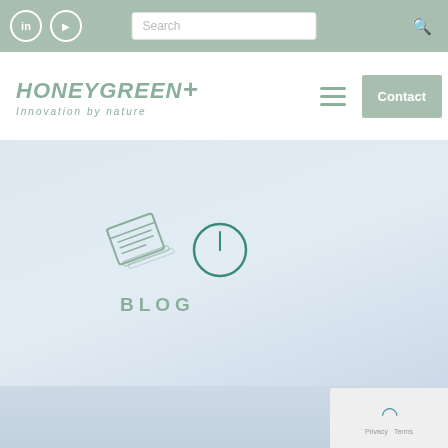Top navigation bar with LinkedIn icon, YouTube icon, Search box, and Search icon
[Figure (logo): HONEYGREEN+ logo with tagline Innovation by nature, hamburger menu icon, and Contact button]
[Figure (illustration): Light blue gradient hero area with a newspaper/book icon and a clock circle icon, and BLOG label below]
Footer area with reCAPTCHA widget showing Privacy and Terms